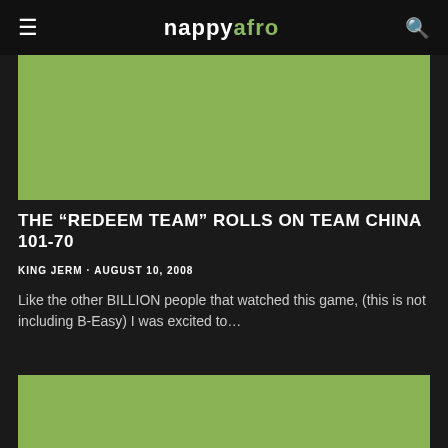nappyafro
[Figure (photo): Green placeholder image at top of article]
THE “REDEEM TEAM” ROLLS ON TEAM CHINA 101-70
KING JERM · AUGUST 10, 2008
Like the other BILLION people that watched this game, (this is not including B-Easy) I was excited to…
[Figure (photo): Green placeholder image at bottom of article]